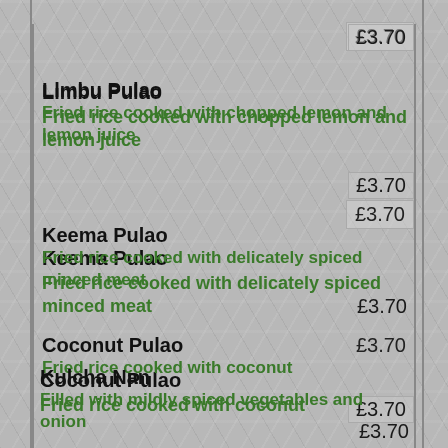£3.70
Limbu Pulao
Fried rice cooked with chopped lemon and lemon juice
£3.70
Keema Pulao
Fried rice cooked with delicately spiced minced meat
£3.70
Coconut Pulao
Fried rice cooked with coconut
£3.70
Kulcha Nan
Filled with mildly spiced vegetables and onion
£3.70